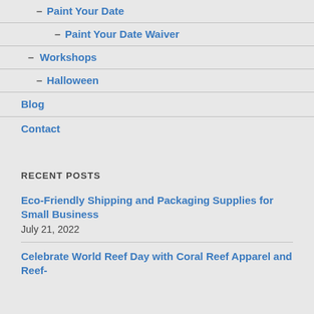– Paint Your Date
– Paint Your Date Waiver
– Workshops
– Halloween
Blog
Contact
RECENT POSTS
Eco-Friendly Shipping and Packaging Supplies for Small Business
July 21, 2022
Celebrate World Reef Day with Coral Reef Apparel and Reef-